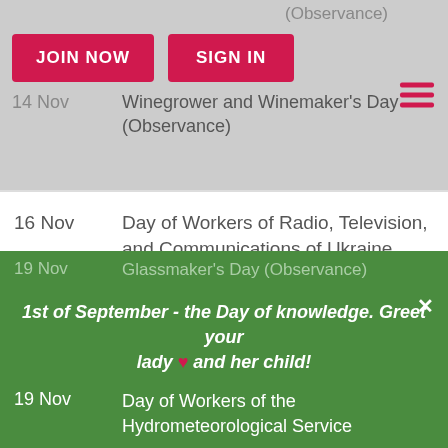(Observance)
JOIN NOW
SIGN IN
14 Nov — Winegrower and Winemaker's Day (Observance)
16 Nov — Day of Workers of Radio, Television, and Communications of Ukraine (Observance)
17 Nov — International Students' Day (Observance)
18 Nov — International Day of Philosophy (Observance)
19 Nov — Glassmaker's Day (Observance)
1st of September - the Day of knowledge. Greet your lady ♥ and her child!
19 Nov — Day of Workers of the Hydrometeorological Service